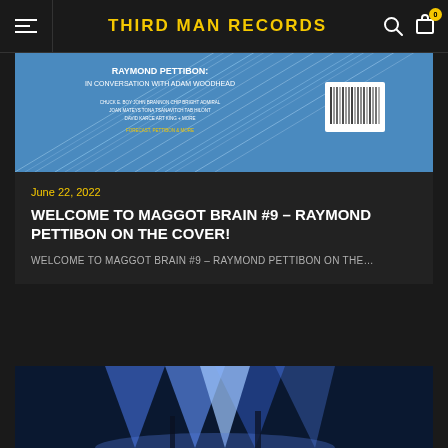THIRD MAN RECORDS
[Figure (photo): Book cover for Raymond Pettibon: In Conversation with Adam Woodhead, with blue abstract streaks background and barcode]
June 22, 2022
WELCOME TO MAGGOT BRAIN #9 – RAYMOND PETTIBON ON THE COVER!
WELCOME TO MAGGOT BRAIN #9 – RAYMOND PETTIBON ON THE…
[Figure (photo): Concert photo with blue stage lighting and spotlights]